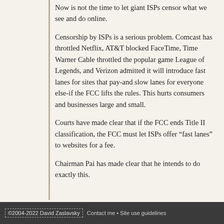Now is not the time to let giant ISPs censor what we see and do online.
Censorship by ISPs is a serious problem. Comcast has throttled Netflix, AT&T blocked FaceTime, Time Warner Cable throttled the popular game League of Legends, and Verizon admitted it will introduce fast lanes for sites that pay-and slow lanes for everyone else-if the FCC lifts the rules. This hurts consumers and businesses large and small.
Courts have made clear that if the FCC ends Title II classification, the FCC must let ISPs offer “fast lanes” to websites for a fee.
Chairman Pai has made clear that he intends to do exactly this.
©2004-2022 David Zaslavsky  Contact me • Site use guidelines